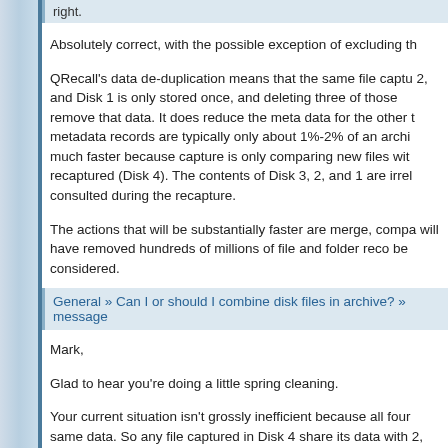right.
Absolutely correct, with the possible exception of excluding th
QRecall's data de-duplication means that the same file captu 2, and Disk 1 is only stored once, and deleting three of those remove that data. It does reduce the meta data for the other t metadata records are typically only about 1%-2% of an archi much faster because capture is only comparing new files wit recaptured (Disk 4). The contents of Disk 3, 2, and 1 are irrel consulted during the recapture.
The actions that will be substantially faster are merge, compa will have removed hundreds of millions of file and folder reco be considered.
General » Can I or should I combine disk files in archive? » message
Mark,
Glad to hear you're doing a little spring cleaning.
Your current situation isn't grossly inefficient because all four same data. So any file captured in Disk 4 share its data with 2, and 1.